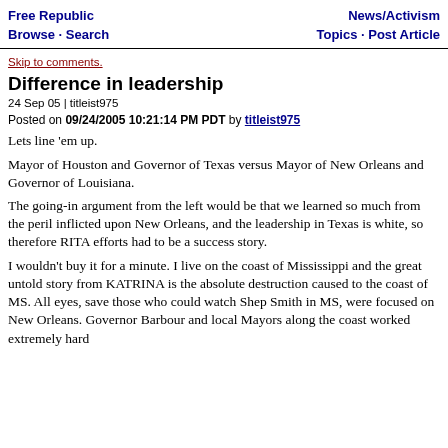Free Republic | Browse · Search | News/Activism | Topics · Post Article
Skip to comments.
Difference in leadership
24 Sep 05 | titleist975
Posted on 09/24/2005 10:21:14 PM PDT by titleist975
Lets line 'em up.
Mayor of Houston and Governor of Texas versus Mayor of New Orleans and Governor of Louisiana.
The going-in argument from the left would be that we learned so much from the peril inflicted upon New Orleans, and the leadership in Texas is white, so therefore RITA efforts had to be a success story.
I wouldn't buy it for a minute. I live on the coast of Mississippi and the great untold story from KATRINA is the absolute destruction caused to the coast of MS. All eyes, save those who could watch Shep Smith in MS, were focused on New Orleans. Governor Barbour and local Mayors along the coast worked extremely hard